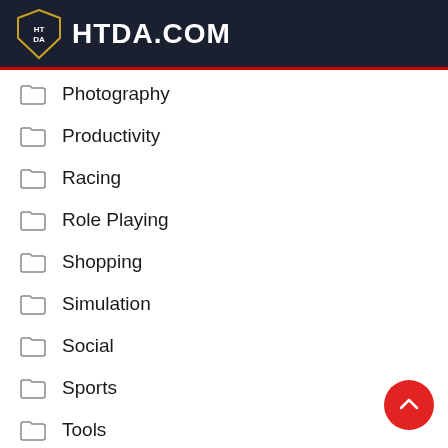HTDA.COM
Photography
Productivity
Racing
Role Playing
Shopping
Simulation
Social
Sports
Tools
Travel & Local
Uncategorized